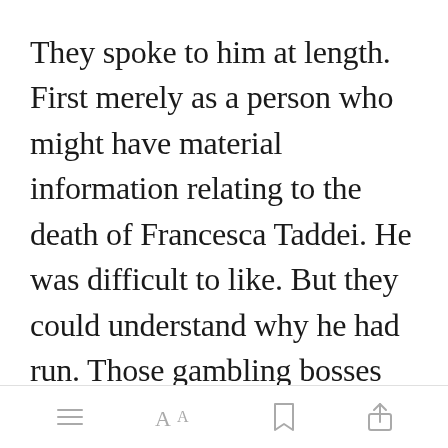They spoke to him at length. First merely as a person who might have material information relating to the death of Francesca Taddei. He was difficult to like. But they could understand why he had run. Those gambling bosses do not pussy foot around, and by his own admission he owed them a good deal of money. His story was t[Open in app] had turned
toolbar with menu, font, bookmark, and share icons